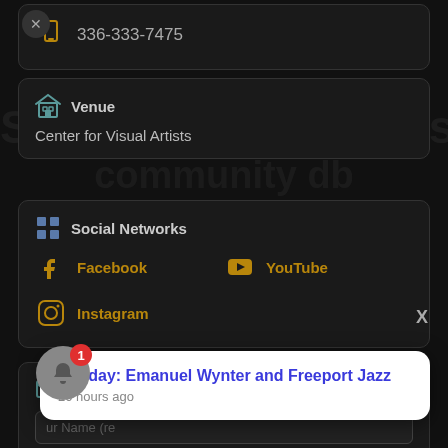336-333-7475
Venue
Center for Visual Artists
Social Networks
Facebook
YouTube
Instagram
X
Contact Fo[rm]
[Y]our Name (re[quired])
Sunday: Emanuel Wynter and Freeport Jazz
20 hours ago